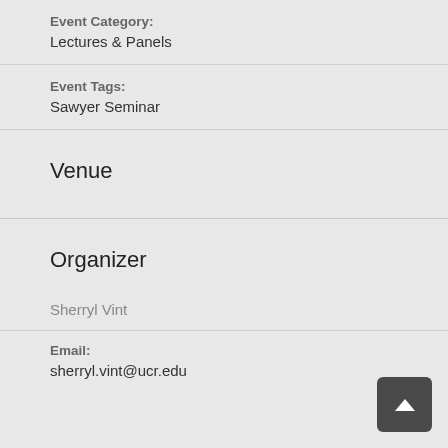Event Category: Lectures & Panels
Event Tags: Sawyer Seminar
Venue
Organizer
Sherryl Vint
Email: sherryl.vint@ucr.edu